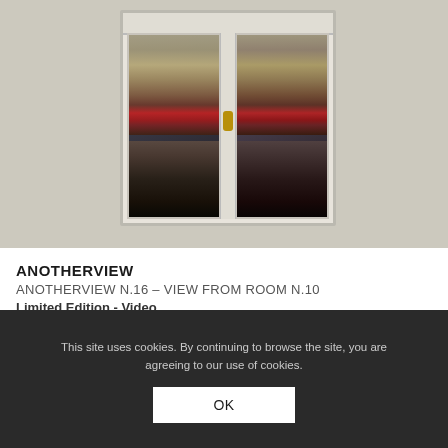[Figure (photo): Photograph of an open double-pane white window mounted on a beige/gray stone wall, reflecting a Parisian street scene with classic Haussmann-style buildings, red awnings, and street activity below.]
ANOTHERVIEW
ANOTHERVIEW N.16 – VIEW FROM ROOM N.10
Limited Edition - Video
This site uses cookies. By continuing to browse the site, you are agreeing to our use of cookies.
OK